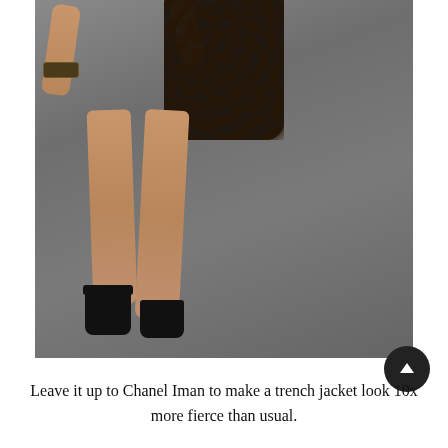[Figure (photo): A fashion runway photo showing a model from the waist down, wearing a black lace skirt and black high-heel pumps with ankle straps, walking on a gray concrete runway. Her arms are partially visible. She wears a decorative bracelet on her left wrist. The background is a blurred gray pavement.]
Leave it up to Chanel Iman to make a trench jacket look 10x more fierce than usual.